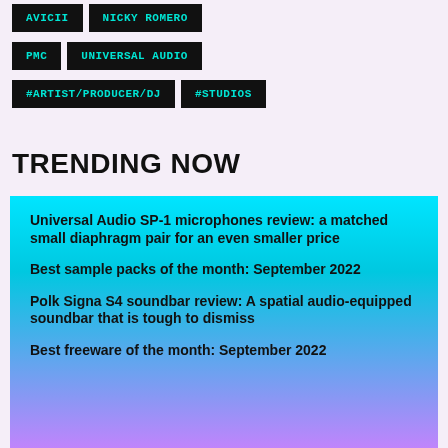AVICII
NICKY ROMERO
PMC
UNIVERSAL AUDIO
#ARTIST/PRODUCER/DJ
#STUDIOS
TRENDING NOW
Universal Audio SP-1 microphones review: a matched small diaphragm pair for an even smaller price
Best sample packs of the month: September 2022
Polk Signa S4 soundbar review: A spatial audio-equipped soundbar that is tough to dismiss
Best freeware of the month: September 2022